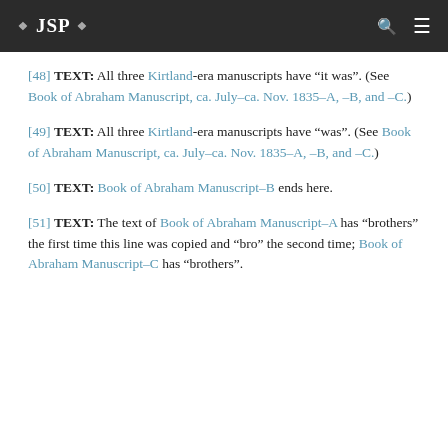JSP
[48] TEXT: All three Kirtland-era manuscripts have “it was”. (See Book of Abraham Manuscript, ca. July–ca. Nov. 1835–A, –B, and –C.)
[49] TEXT: All three Kirtland-era manuscripts have “was”. (See Book of Abraham Manuscript, ca. July–ca. Nov. 1835–A, –B, and –C.)
[50] TEXT: Book of Abraham Manuscript–B ends here.
[51] TEXT: The text of Book of Abraham Manuscript–A has “brothers” the first time this line was copied and “bro” the second time; Book of Abraham Manuscript–C has “brothers”.